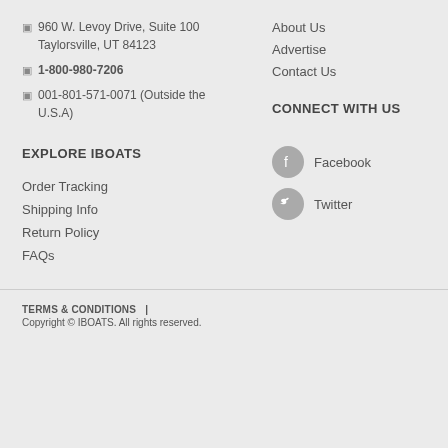960 W. Levoy Drive, Suite 100 Taylorsville, UT 84123
1-800-980-7206
001-801-571-0071 (Outside the U.S.A)
About Us
Advertise
Contact Us
EXPLORE IBOATS
CONNECT WITH US
Order Tracking
Shipping Info
Return Policy
FAQs
Facebook
Twitter
TERMS & CONDITIONS  |  Copyright © IBOATS. All rights reserved.